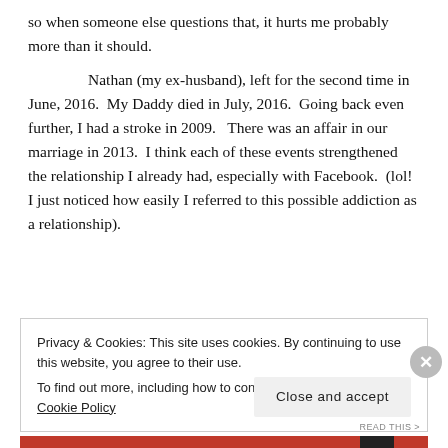so when someone else questions that, it hurts me probably more than it should.
Nathan (my ex-husband), left for the second time in June, 2016.  My Daddy died in July, 2016.  Going back even further, I had a stroke in 2009.   There was an affair in our marriage in 2013.  I think each of these events strengthened the relationship I already had, especially with Facebook.  (lol!  I just noticed how easily I referred to this possible addiction as a relationship).
Privacy & Cookies: This site uses cookies. By continuing to use this website, you agree to their use.
To find out more, including how to control cookies, see here: Cookie Policy